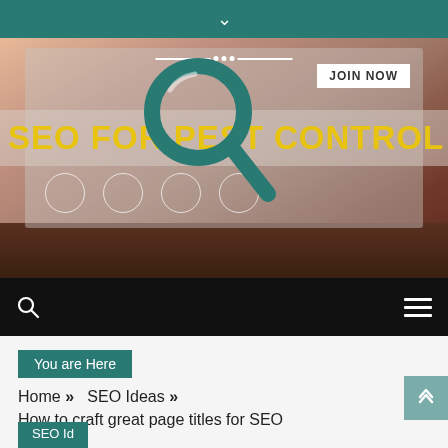[Figure (screenshot): Website screenshot showing a laptop with a website displayed. Overlaid text reads 'SEO FOR PEST CONTROL' in yellow with a large teal magnifying glass icon. A 'JOIN NOW' button is visible in the upper right of the laptop screen.]
Navigation bar with search icon and hamburger menu
You are Here
Home » SEO Ideas »
How to craft great page titles for SEO